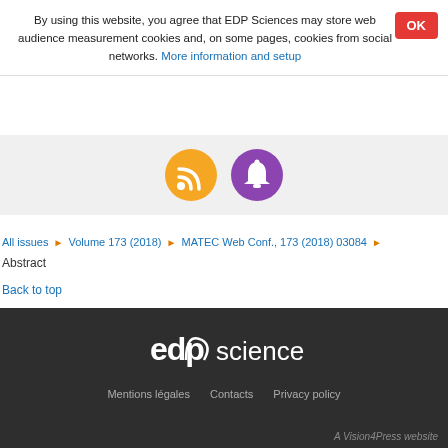By using this website, you agree that EDP Sciences may store web audience measurement cookies and, on some pages, cookies from social networks. More information and setup
[Figure (infographic): RSS feed icon (orange circle with wifi symbol) and notification bell icon (purple circle) side by side on gray background]
All issues ▶ Volume 173 (2018) ▶ MATEC Web Conf., 173 (2018) 03084 ▶
Abstract
Back to top
[Figure (logo): EDP Sciences logo in white on dark background]
Mentions légales   Contacts   Privacy policy
A Vision4Press website